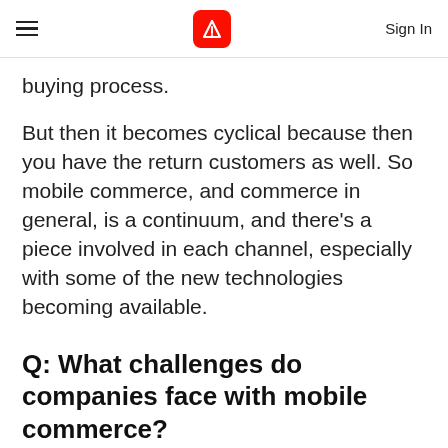Adobe — Sign In
buying process.
But then it becomes cyclical because then you have the return customers as well. So mobile commerce, and commerce in general, is a continuum, and there's a piece involved in each channel, especially with some of the new technologies becoming available.
Q: What challenges do companies face with mobile commerce?
A: One challenge is that companies are excited about mobile, but they're hesitant about getting started. The steps involved with re-platforming or optimizing their